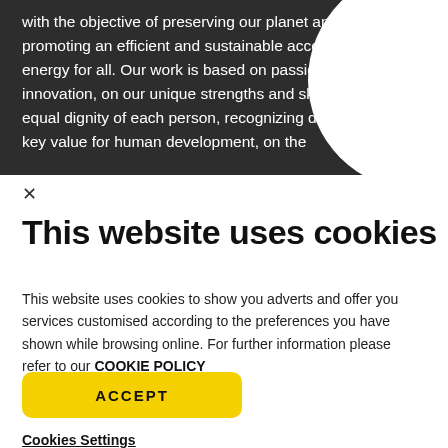with the objective of preserving our planet and promoting an efficient and sustainable access to energy for all. Our work is based on passion and innovation, on our unique strengths and skills, on the equal dignity of each person, recognizing diversity as a key value for human development, on the value
This website uses cookies
This website uses cookies to show you adverts and offer you services customised according to the preferences you have shown while browsing online. For further information please refer to our COOKIE POLICY
ACCEPT
Cookies Settings